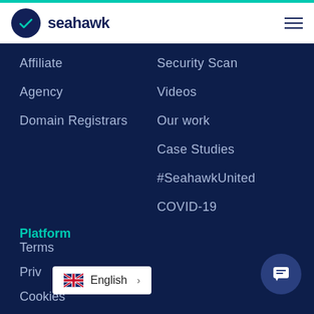[Figure (logo): Seahawk logo with dark navy circle containing a teal checkmark, followed by 'seahawk' text in dark navy]
Affiliate
Agency
Domain Registrars
Security Scan
Videos
Our work
Case Studies
#SeahawkUnited
COVID-19
Platform
Terms
Priv
Cookies
English